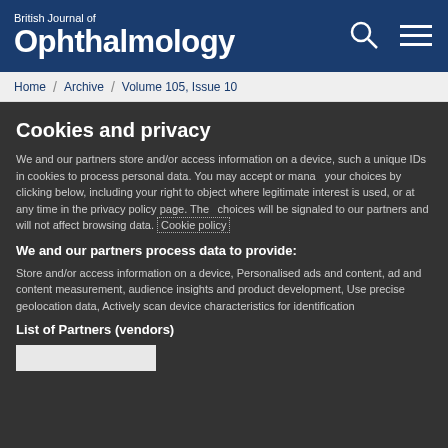British Journal of Ophthalmology
Home / Archive / Volume 105, Issue 10
Cookies and privacy
We and our partners store and/or access information on a device, such as unique IDs in cookies to process personal data. You may accept or manage your choices by clicking below, including your right to object where legitimate interest is used, or at any time in the privacy policy page. These choices will be signaled to our partners and will not affect browsing data. Cookie policy
We and our partners process data to provide:
Store and/or access information on a device, Personalised ads and content, ad and content measurement, audience insights and product development, Use precise geolocation data, Actively scan device characteristics for identification
List of Partners (vendors)